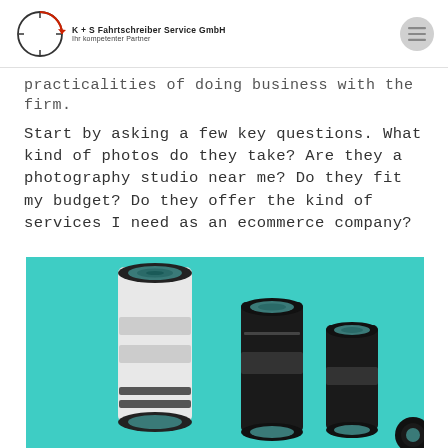K+S Fahrtschreiber Service GmbH – Ihr kompetenter Partner
practicalities of doing business with the firm.
Start by asking a few key questions. What kind of photos do they take? Are they a photography studio near me? Do they fit my budget? Do they offer the kind of services I need as an ecommerce company?
[Figure (photo): Three camera lenses of different sizes arranged on a teal/turquoise background. A large white telephoto lens on the left, a medium black zoom lens in the center, and a smaller black lens on the right.]